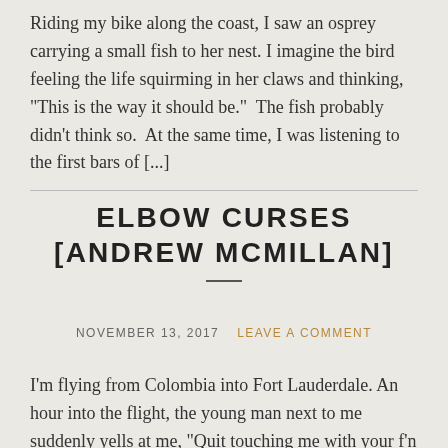Riding my bike along the coast, I saw an osprey carrying a small fish to her nest. I imagine the bird feeling the life squirming in her claws and thinking, "This is the way it should be."  The fish probably didn't think so.  At the same time, I was listening to the first bars of [...]
ELBOW CURSES [ANDREW MCMILLAN]
NOVEMBER 13, 2017   LEAVE A COMMENT
I'm flying from Colombia into Fort Lauderdale. An hour into the flight, the young man next to me suddenly yells at me, "Quit touching me with your f'n elbow!"  I said I didn't know I